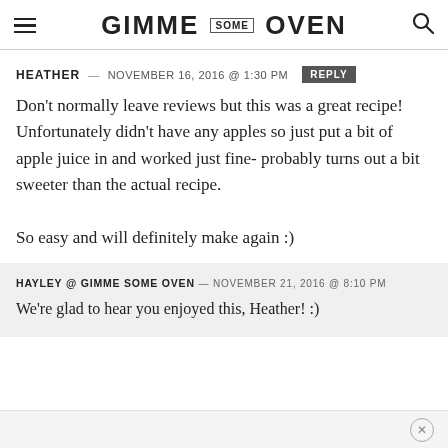GIMME SOME OVEN
HEATHER — NOVEMBER 16, 2016 @ 1:30 PM  REPLY
Don't normally leave reviews but this was a great recipe! Unfortunately didn't have any apples so just put a bit of apple juice in and worked just fine- probably turns out a bit sweeter than the actual recipe.

So easy and will definitely make again :)
HAYLEY @ GIMME SOME OVEN — NOVEMBER 21, 2016 @ 8:10 PM
We're glad to hear you enjoyed this, Heather! :)